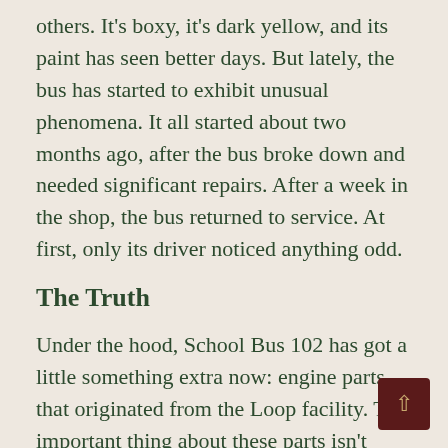others. It's boxy, it's dark yellow, and its paint has seen better days. But lately, the bus has started to exhibit unusual phenomena. It all started about two months ago, after the bus broke down and needed significant repairs. After a week in the shop, the bus returned to service. At first, only its driver noticed anything odd.
The Truth
Under the hood, School Bus 102 has got a little something extra now: engine parts that originated from the Loop facility. The important thing about these parts isn't their mechanical function, but the fact that they